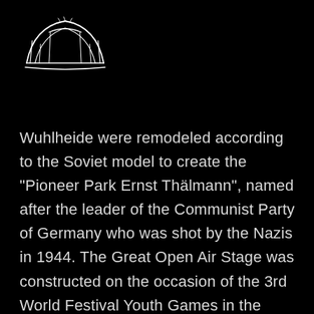[Figure (logo): White hand-drawn sketch of a stadium or arena structure with arching lines, on black background]
Wuhlheide were remodeled according to the Soviet model to create the "Pioneer Park Ernst Thälmann", named after the leader of the Communist Party of Germany who was shot by the Nazis in 1944. The Great Open Air Stage was constructed on the occasion of the 3rd World Festival Youth Games in the summer of 1951 (the opening ceremony was held on July 27, 1951 under East Berlin's Mayor Friedrich Ebert). It was built on ridges of war debris, on which oval-shaped rows of terraced seating were created for some 20,000 visitors. A complex system of perrons (outdoor staircases) was